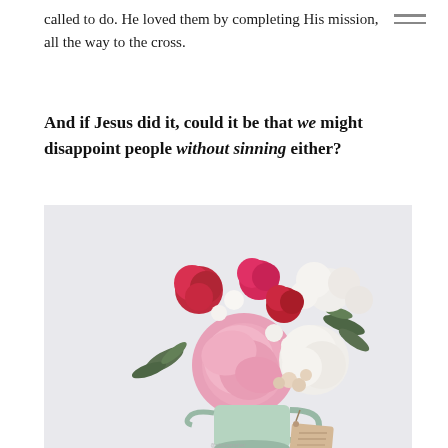called to do. He loved them by completing His mission, all the way to the cross.
And if Jesus did it, could it be that we might disappoint people without sinning either?
[Figure (photo): A floral bouquet with pink peonies, red carnations, and white flowers in a mint-green pitcher/jug with a kraft paper tag, on a light grey background.]